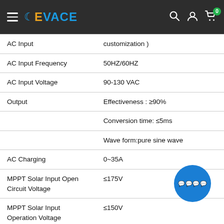EVACE navigation header with hamburger menu, logo, search, account, and cart icons
| Parameter | Value |
| --- | --- |
| AC Input | customization ) |
| AC Input Frequency | 50HZ/60HZ |
| AC Input Voltage | 90-130 VAC |
| Output | Effectiveness : ≥90% |
|  | Conversion time: ≤5ms |
|  | Wave form:pure sine wave |
| AC Charging | 0~35A |
| MPPT Solar Input Open Circuit Voltage | ≤175V |
| MPPT Solar Input Operation Voltage | ≤150V |